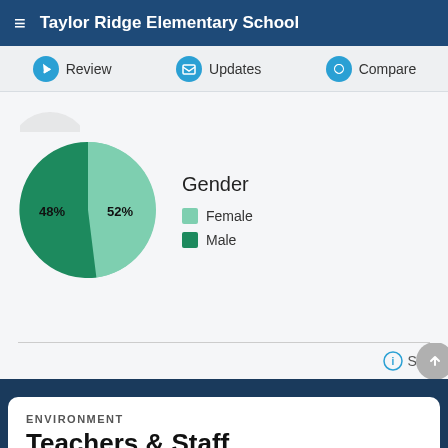Taylor Ridge Elementary School
Review | Updates | Compare
[Figure (pie-chart): Gender]
Source
ENVIRONMENT
Teachers & Staff
What makes a great teacher? The truth may